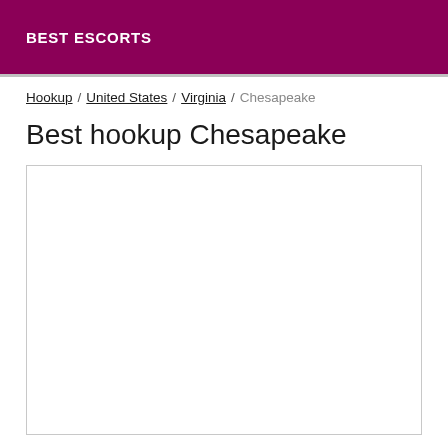BEST ESCORTS
Hookup / United States / Virginia / Chesapeake
Best hookup Chesapeake
[Figure (other): Empty white content box with border]